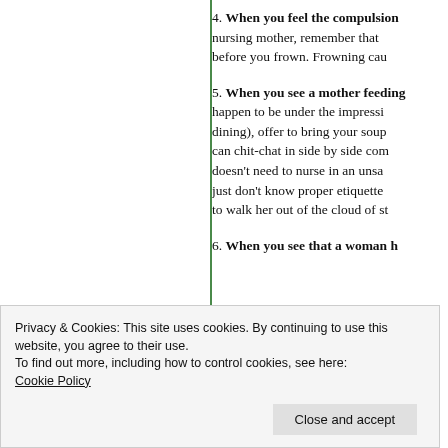4. When you feel the compulsion to stare disapprovingly at a nursing mother, remember that it takes more muscles to frown before you frown. Frowning cau...
5. When you see a mother feeding her baby and you happen to be under the impression that she is (gasp) dining), offer to bring your soup to her table so you can chit-chat in side by side comfort. She doesn't need to nurse in an unsanitary bathroom just don't know proper etiquette to walk her out of the cloud of st...
6. When you see that a woman h...
Privacy & Cookies: This site uses cookies. By continuing to use this website, you agree to their use.
To find out more, including how to control cookies, see here:
Cookie Policy
7. When you see that the feed-...